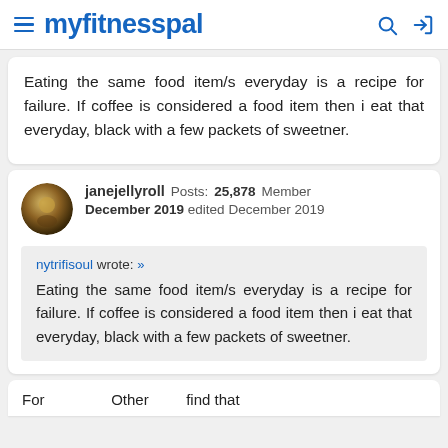myfitnesspal
Eating the same food item/s everyday is a recipe for failure. If coffee is considered a food item then i eat that everyday, black with a few packets of sweetner.
janejellyroll   Posts: 25,878   Member
December 2019   edited December 2019
nytrifisoul wrote: »
Eating the same food item/s everyday is a recipe for failure. If coffee is considered a food item then i eat that everyday, black with a few packets of sweetner.
For...   Other...find that